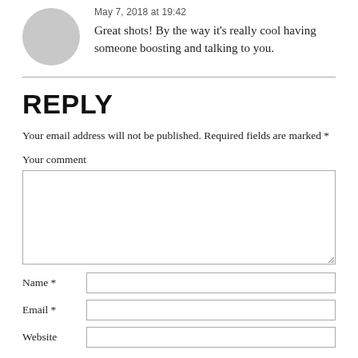May 7, 2018 at 19:42
Great shots! By the way it's really cool having someone boosting and talking to you.
REPLY
Your email address will not be published. Required fields are marked *
Your comment
Name *
Email *
Website